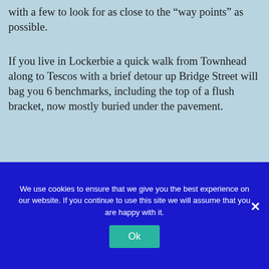with a few to look for as close to the “way points” as possible.
If you live in Lockerbie a quick walk from Townhead along to Tescos with a brief detour up Bridge Street will bag you 6 benchmarks, including the top of a flush bracket, now mostly buried under the pavement.
[Figure (photo): Two photos side by side: left photo shows granite/gravel surface texture with mixed stones; right photo shows a smooth concrete or stone slab surface with a faint horizontal mark or line across it.]
We use cookies to ensure that we give you the best experience on our website. If you continue to use this site we will assume that you are happy with it.